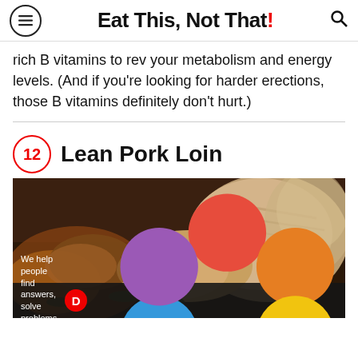Eat This, Not That!
rich B vitamins to rev your metabolism and energy levels. (And if you're looking for harder erections, those B vitamins definitely don't hurt.)
12 Lean Pork Loin
[Figure (photo): Close-up photo of sliced lean pork loin with herbs and seasonings, showing tender meat texture with an advertisement banner at the bottom reading 'We help people find answers, solve problems and get inspired.' with Dotdash Meredith branding.]